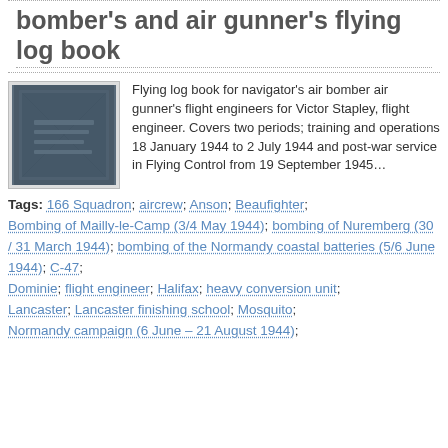bomber's and air gunner's flying log book
[Figure (photo): Thumbnail photo of a dark blue/grey hardcover flying log book]
Flying log book for navigator's air bomber air gunner's flight engineers for Victor Stapley, flight engineer. Covers two periods; training and operations 18 January 1944 to 2 July 1944 and post-war service in Flying Control from 19 September 1945…
Tags: 166 Squadron; aircrew; Anson; Beaufighter; Bombing of Mailly-le-Camp (3/4 May 1944); bombing of Nuremberg (30 / 31 March 1944); bombing of the Normandy coastal batteries (5/6 June 1944); C-47; Dominie; flight engineer; Halifax; heavy conversion unit; Lancaster; Lancaster finishing school; Mosquito; Normandy campaign (6 June – 21 August 1944);